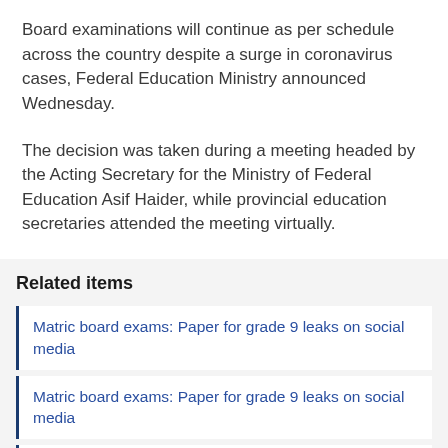Board examinations will continue as per schedule across the country despite a surge in coronavirus cases, Federal Education Ministry announced Wednesday.
The decision was taken during a meeting headed by the Acting Secretary for the Ministry of Federal Education Asif Haider, while provincial education secretaries attended the meeting virtually.
Related items
Matric board exams: Paper for grade 9 leaks on social media
Matric board exams: Paper for grade 9 leaks on social media
Education boards in Sindh struggle with funds to